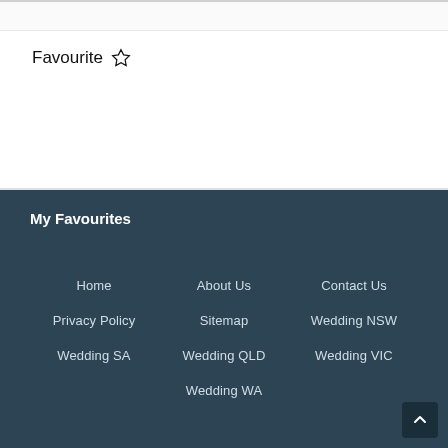Favourite ☆
My Favourites
Home
About Us
Contact Us
Privacy Policy
Sitemap
Wedding NSW
Wedding SA
Wedding QLD
Wedding VIC
Wedding WA